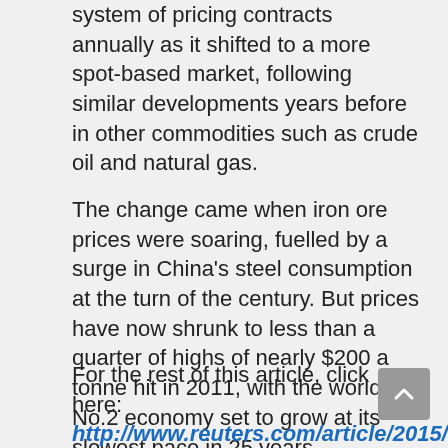system of pricing contracts annually as it shifted to a more spot-based market, following similar developments years before in other commodities such as crude oil and natural gas.
The change came when iron ore prices were soaring, fuelled by a surge in China’s steel consumption at the turn of the century. But prices have now shrunk to less than a quarter of highs of nearly $200 a tonne hit in 2011, with the world’s No.2 economy set to grow at its slowest pace in 25 years.
For the rest of this article, click here: http://www.reuters.com/article/2015/04/06/china-ironore-idUSL3N0WY1PY20150406